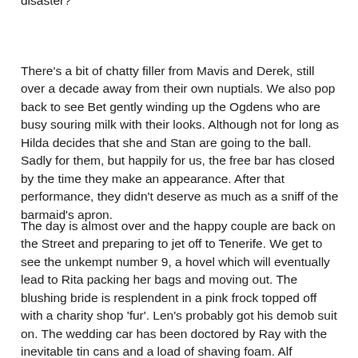disaster?
There's a bit of chatty filler from Mavis and Derek, still over a decade away from their own nuptials. We also pop back to see Bet gently winding up the Ogdens who are busy souring milk with their looks. Although not for long as Hilda decides that she and Stan are going to the ball. Sadly for them, but happily for us, the free bar has closed by the time they make an appearance. After that performance, they didn't deserve as much as a sniff of the barmaid's apron.
The day is almost over and the happy couple are back on the Street and preparing to jet off to Tenerife. We get to see the unkempt number 9, a hovel which will eventually lead to Rita packing her bags and moving out. The blushing bride is resplendent in a pink frock topped off with a charity shop 'fur'. Len's probably got his demob suit on. The wedding car has been doctored by Ray with the inevitable tin cans and a load of shaving foam. Alf attempts to clean this but makes a real hash of it and in exasperated tones we hear him mumble "I can't see a bloody thing' which makes me think it was more Bryan Mosley than Alf Roberts doing the talking.